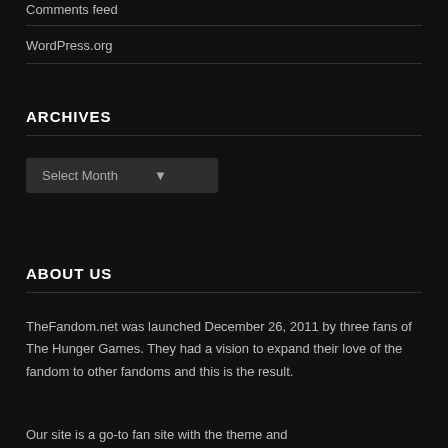Comments feed
WordPress.org
ARCHIVES
Select Month
ABOUT US
TheFandom.net was launched December 26, 2011 by three fans of The Hunger Games. They had a vision to expand their love of the fandom to other fandoms and this is the result.
Our site is a go-to fan site with the theme...